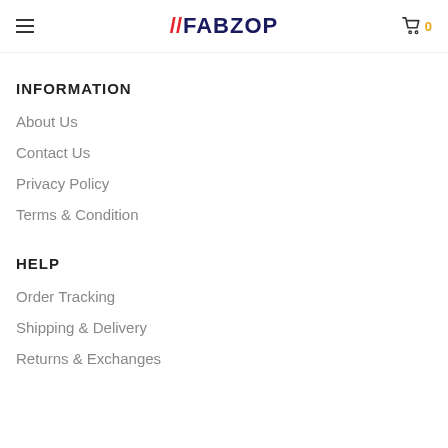//FABZOP
INFORMATION
About Us
Contact Us
Privacy Policy
Terms & Condition
HELP
Order Tracking
Shipping & Delivery
Returns & Exchanges